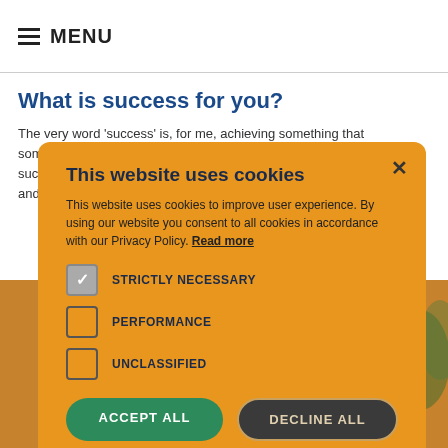≡ MENU
What is success for you?
The very word 'success' is, for me, achieving something that sometimes seems almost impossible. However, I consider professional success in two aspects and deriving joy and satisfaction for the clients and the company.
[Figure (photo): Background photo of a person with curly hair and glasses, with a warm orange/amber tint overlay]
This website uses cookies
This website uses cookies to improve user experience. By using our website you consent to all cookies in accordance with our Privacy Policy. Read more
STRICTLY NECESSARY (checked)
PERFORMANCE (unchecked)
UNCLASSIFIED (unchecked)
ACCEPT ALL
DECLINE ALL
⚙ SHOW DETAILS